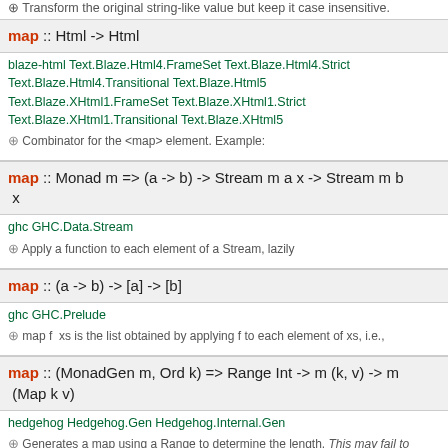Transform the original string-like value but keep it case insensitive.
map :: Html -> Html
blaze-html Text.Blaze.Html4.FrameSet Text.Blaze.Html4.Strict Text.Blaze.Html4.Transitional Text.Blaze.Html5 Text.Blaze.XHtml1.FrameSet Text.Blaze.XHtml1.Strict Text.Blaze.XHtml1.Transitional Text.Blaze.XHtml5
Combinator for the <map> element. Example:
map :: Monad m => (a -> b) -> Stream m a x -> Stream m b x
ghc GHC.Data.Stream
Apply a function to each element of a Stream, lazily
map :: (a -> b) -> [a] -> [b]
ghc GHC.Prelude
map f  xs is the list obtained by applying f to each element of xs, i.e.,
map :: (MonadGen m, Ord k) => Range Int -> m (k, v) -> m (Map k v)
hedgehog Hedgehog.Gen Hedgehog.Internal.Gen
Generates a map using a Range to determine the length. This may fail to generate anything if the keys produced by the generator do not account for a large enough